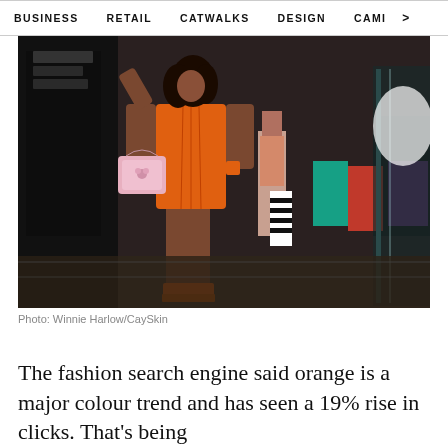BUSINESS   RETAIL   CATWALKS   DESIGN   CAMI >
[Figure (photo): A woman wearing an orange mini dress and orange platform heels carrying a pink handbag, walking out of what appears to be a shopping mall or store entrance. Another person in the background carries a black and white striped bag.]
Photo: Winnie Harlow/CaySkin
The fashion search engine said orange is a major colour trend and has seen a 19% rise in clicks. That's being